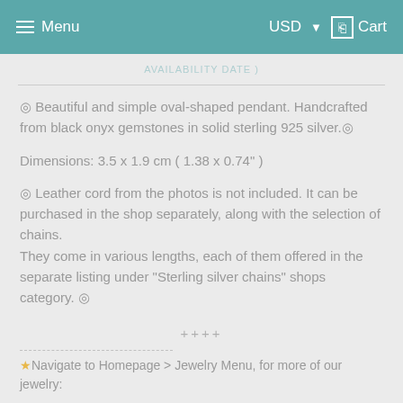Menu  USD  Cart
AVAILABILITY DATE )
◎ Beautiful and simple oval-shaped pendant. Handcrafted from black onyx gemstones in solid sterling 925 silver.◎
Dimensions: 3.5 x 1.9 cm ( 1.38 x 0.74" )
◎ Leather cord from the photos is not included. It can be purchased in the shop separately, along with the selection of chains. They come in various lengths, each of them offered in the separate listing under "Sterling silver chains" shops category. ◎
++++
★ Navigate to Homepage > Jewelry Menu, for more of our jewelry: